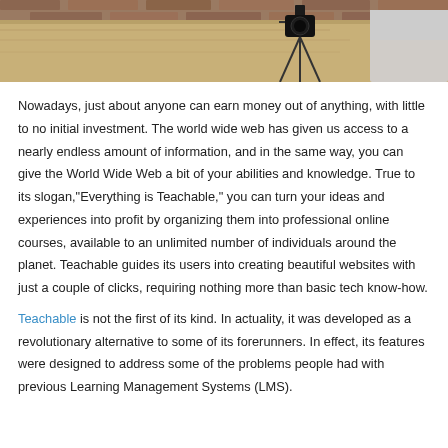[Figure (photo): Top portion of a photo showing a wooden table surface and camera equipment, with a person in a light-colored shirt visible on the right side and a brick wall in the background.]
Nowadays, just about anyone can earn money out of anything, with little to no initial investment. The world wide web has given us access to a nearly endless amount of information, and in the same way, you can give the World Wide Web a bit of your abilities and knowledge. True to its slogan,"Everything is Teachable," you can turn your ideas and experiences into profit by organizing them into professional online courses, available to an unlimited number of individuals around the planet. Teachable guides its users into creating beautiful websites with just a couple of clicks, requiring nothing more than basic tech know-how.
Teachable is not the first of its kind. In actuality, it was developed as a revolutionary alternative to some of its forerunners. In effect, its features were designed to address some of the problems people had with previous Learning Management Systems (LMS).